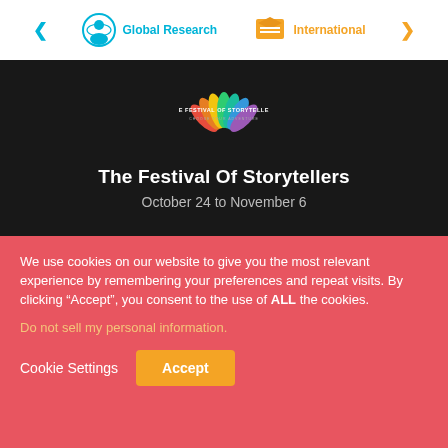[Figure (logo): Two organization logos: Global Research (blue circular icon with person/globe, blue text) and International (orange book icon, orange text) with navigation arrows on each side]
[Figure (logo): The Festival of Storytellers logo - colorful fan/peacock feather design with text 'THE FESTIVAL OF STORYTELLERS' and 'CHOOSE YOUR ADVENTURE']
The Festival Of Storytellers
October 24 to November 6
We use cookies on our website to give you the most relevant experience by remembering your preferences and repeat visits. By clicking “Accept”, you consent to the use of ALL the cookies.
Do not sell my personal information.
Cookie Settings
Accept